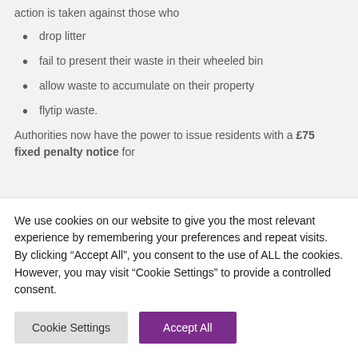action is taken against those who
drop litter
fail to present their waste in their wheeled bin
allow waste to accumulate on their property
flytip waste.
Authorities now have the power to issue residents with a £75 fixed penalty notice for
We use cookies on our website to give you the most relevant experience by remembering your preferences and repeat visits. By clicking "Accept All", you consent to the use of ALL the cookies. However, you may visit "Cookie Settings" to provide a controlled consent.